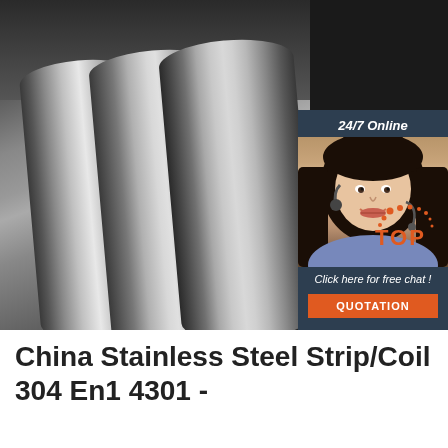[Figure (photo): Photo of three stainless steel round bars/rods lying on a dark industrial surface, with scrap metal visible in the background. An overlay on the right side shows a customer service agent with headset (24/7 Online chat widget) and an orange QUOTATION button. A TOP logo with orange dots appears in the lower right corner of the image.]
China Stainless Steel Strip/Coil 304 En1 4301 -